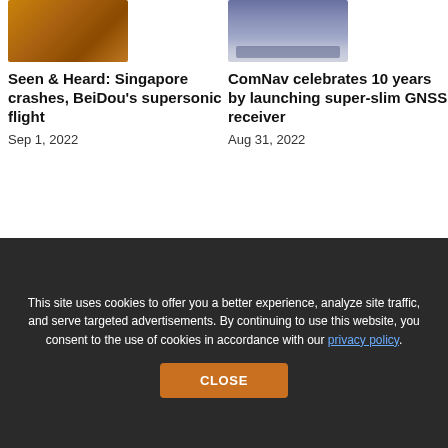[Figure (photo): Thumbnail image with warm orange/brown tones, possibly terrain or rock surface]
Seen & Heard: Singapore crashes, BeiDou's supersonic flight
Sep 1, 2022
[Figure (photo): Thumbnail image of a slim electronic device, blue-grey gradient, possibly a GNSS receiver]
ComNav celebrates 10 years by launching super-slim GNSS receiver
Aug 31, 2022
This site uses cookies to offer you a better experience, analyze site traffic, and serve targeted advertisements. By continuing to use this website, you consent to the use of cookies in accordance with our privacy policy.
CLOSE